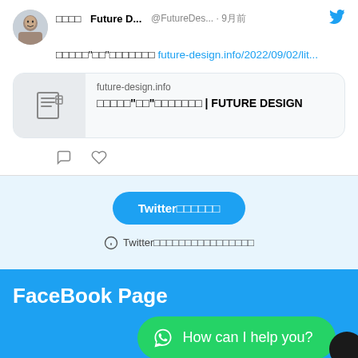[Figure (screenshot): Twitter/X tweet card showing a user named Future D... @FutureDes... posted 9月前, with Japanese text and a link to future-design.info/2022/09/02/lit... with a link preview card showing the domain and title future-design.info / Japanese text | FUTURE DESIGN. Below the tweet are reply and like icons.]
Twitter□□□□□□
Twitter□□□□□□□□□□□□□□□□
FaceBook Page
How can I help you?